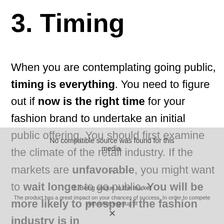3. Timing
When you are contemplating going public, timing is everything. You need to figure out if now is the right time for your fashion brand to undertake an initial public offering. You should first examine the climate of the retail industry. If the markets are unfavorable, you might want to wait longer to go public. You will be more likely to prosper if the fashion industry is in